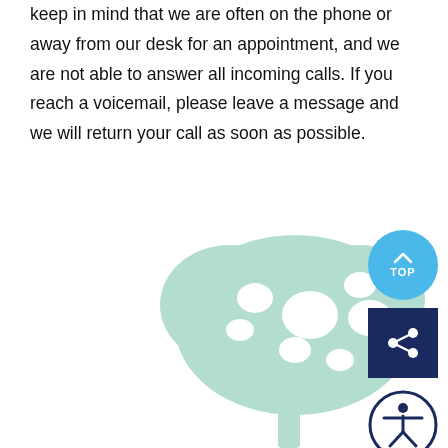keep in mind that we are often on the phone or away from our desk for an appointment, and we are not able to answer all incoming calls. If you reach a voicemail, please leave a message and we will return your call as soon as possible.
[Figure (illustration): A light mint/pale green tree silhouette illustration in the lower right portion of the page, with a rounded leafy canopy and trunk visible]
[Figure (other): A blue circular button with an upward chevron arrow and the text TOP]
[Figure (other): A dark navy blue square share button with a share icon (circle with connected dots)]
[Figure (other): A dark navy blue circular accessibility button with a person/wheelchair accessibility icon]